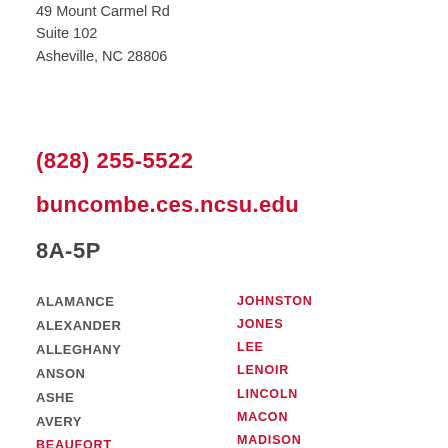49 Mount Carmel Rd
Suite 102
Asheville, NC 28806
(828) 255-5522
buncombe.ces.ncsu.edu
8A-5P
ALAMANCE
ALEXANDER
ALLEGHANY
ANSON
ASHE
AVERY
BEAUFORT
BERTIE
BLADEN
BRUNSWICK
BUNCOMBE
BURKE
JOHNSTON
JONES
LEE
LENOIR
LINCOLN
MACON
MADISON
MARTIN
MCDOWELL
MECKLENBURG
MITCHELL
MONTGOMERY
MOORE